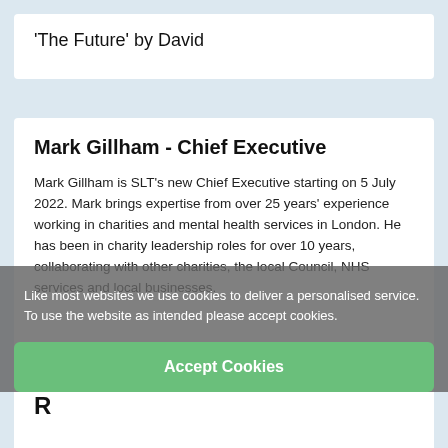'The Future' by David
Mark Gillham - Chief Executive
Mark Gillham is SLT's new Chief Executive starting on 5 July 2022.   Mark brings expertise from over 25 years' experience working in charities and mental health services in London.  He has been in charity leadership roles for over 10 years, collaborating with other charities, the local Council, NHS services and local businesses.
Like most websites we use cookies to deliver a personalised service. To use the website as intended please accept cookies.
Accept Cookies